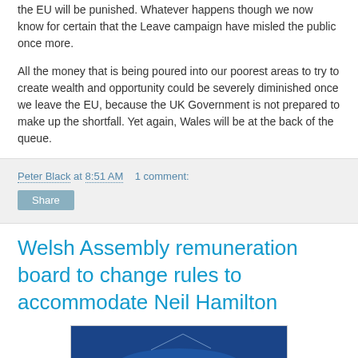the EU will be punished. Whatever happens though we now know for certain that the Leave campaign have misled the public once more.
All the money that is being poured into our poorest areas to try to create wealth and opportunity could be severely diminished once we leave the EU, because the UK Government is not prepared to make up the shortfall. Yet again, Wales will be at the back of the queue.
Peter Black at 8:51 AM    1 comment:
Share
Welsh Assembly remuneration board to change rules to accommodate Neil Hamilton
[Figure (photo): Blue-toned photograph, partially visible at bottom of page]